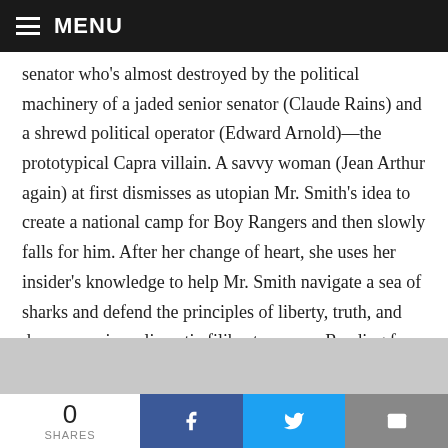MENU
senator who's almost destroyed by the political machinery of a jaded senior senator (Claude Rains) and a shrewd political operator (Edward Arnold)—the prototypical Capra villain. A savvy woman (Jean Arthur again) at first dismisses as utopian Mr. Smith's idea to create a national camp for Boy Rangers and then slowly falls for him. After her change of heart, she uses her insider's knowledge to help Mr. Smith navigate a sea of sharks and defend the principles of liberty, truth, and democracy in a climactic filibuster scene. Reading from the Declaration of Independence and 1 Corinthians 13—the hymn to charity
0 SHARES